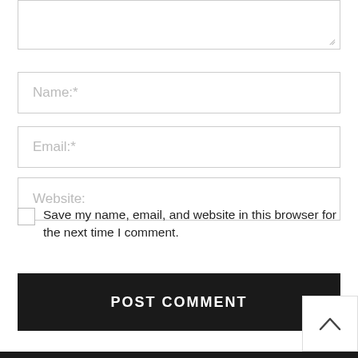[Figure (screenshot): Textarea input box (top portion, partially cut off) with resize handle at bottom-right corner]
Name:*
Email:*
Website:
Save my name, email, and website in this browser for the next time I comment.
POST COMMENT
[Figure (other): Back to top button with upward chevron arrow, located at bottom-right corner]